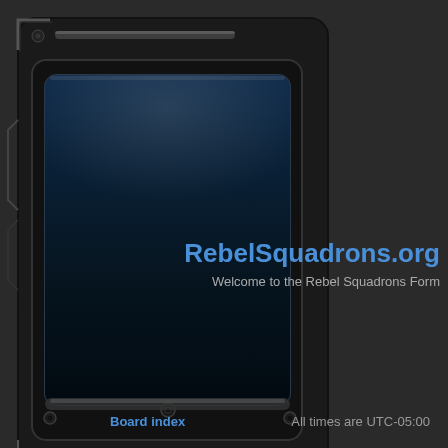[Figure (screenshot): Dark sci-fi themed forum interface for RebelSquadrons.org showing a mechanical/robotic panel design on the left side with blue accent lighting, a 'Main Site' button, and a 'Register' link on the right side]
RebelSquadrons.org
Welcome to the Rebel Squadrons Form
Main Site
Register
Board index
All times are UTC-05:00